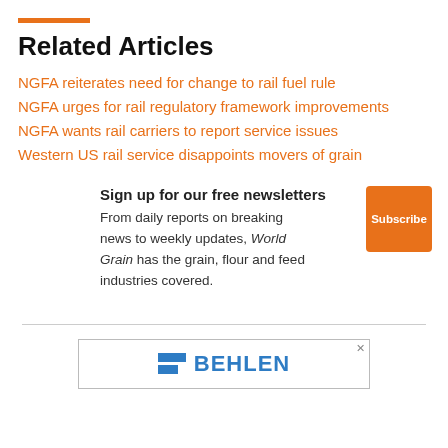Related Articles
NGFA reiterates need for change to rail fuel rule
NGFA urges for rail regulatory framework improvements
NGFA wants rail carriers to report service issues
Western US rail service disappoints movers of grain
Sign up for our free newsletters
From daily reports on breaking news to weekly updates, World Grain has the grain, flour and feed industries covered.
[Figure (logo): BEHLEN logo with blue horizontal bars and blue text]
[Figure (other): Subscribe button (orange square with white text 'Subscribe')]